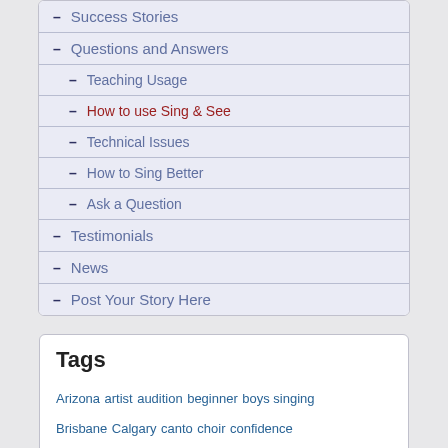– Success Stories
– Questions and Answers
– Teaching Usage
– How to use Sing & See
– Technical Issues
– How to Sing Better
– Ask a Question
– Testimonials
– News
– Post Your Story Here
Tags
Arizona artist audition beginner boys singing Brisbane Calgary canto choir confidence contemporary crossover DEP ear training FAQ feritta fonts harmony high school licensing Mac microphone noise pitch pitch trace Pro professional Question recording artist reinstall